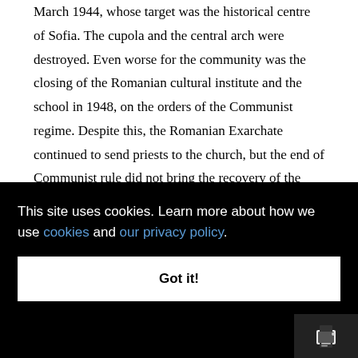March 1944, whose target was the historical centre of Sofia. The cupola and the central arch were destroyed. Even worse for the community was the closing of the Romanian cultural institute and the school in 1948, on the orders of the Communist regime. Despite this, the Romanian Exarchate continued to send priests to the church, but the end of Communist rule did not bring the recovery of the cultural institute, as the Romanian authorities had hoped.
Although in need of heavy restoration, in ...church ...ch ...1954. ...er, the
This site uses cookies. Learn more about how we use cookies and our privacy policy.
Got it!